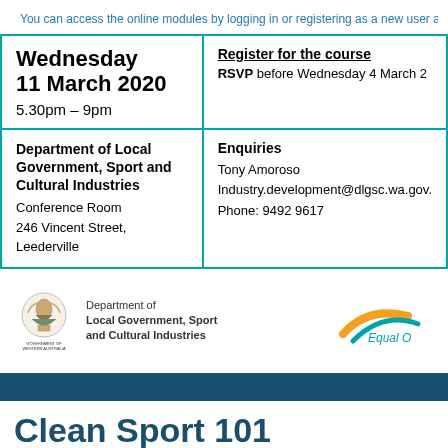You can access the online modules by logging in or registering as a new user at
| Wednesday
11 March 2020
5.30pm – 9pm | Register for the course
RSVP before Wednesday 4 March 2 |
| Department of Local Government, Sport and Cultural Industries
Conference Room
246 Vincent Street, Leederville | Enquiries
Tony Amoroso
Industry.development@dlgsc.wa.gov.
Phone: 9492 9617 |
[Figure (logo): Government of Western Australia crest with Department of Local Government, Sport and Cultural Industries text]
[Figure (logo): Equal Opportunity logo with orange and teal swoosh]
Clean Sport 101